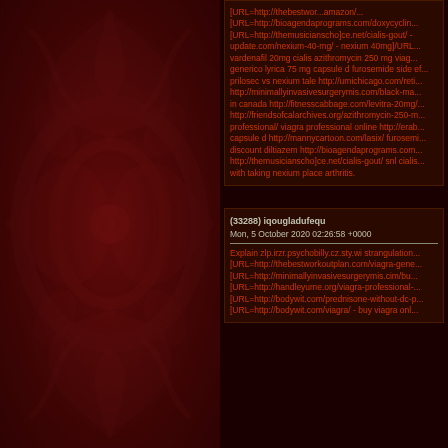[Figure (illustration): Dark red decorative floral/damask pattern background on left panel]
[URL=http://thebestwor...amazon/... [URL=http://bioagendaprograms.com/doxycyclin... [URL=http://themusicianscho]ce.net/cialis-gout/- ... update.com/nexium-40-mg/ - nexium 40mg]/URL... vardenafil 20mg cialis azithromycin 250 mg viag... generico lyrica 75 mg capsule d furosemide side ef... prilosec vs nexium tale http://umichicago.com/reti... http://minimallyinvasivesurgerymis.com/black-ma... in canada http://fitnesscabbage.com/levitra-20mg/... http://friendsofcalarchives.org/azithromycin-250-m... professional/ viagra professional online http://erab... capsule d http://mannycartoon.com/lasix/ furosemi... discount diltiazem http://bioagendaprograms.com... http://themusicianscho]ce.net/cialis-gout/ snl cialis... with taking nexium place arthritis.
(33288) iqougladufequ
Mon, 5 October 2020 02:26:58 +0000
Explain zlp.irzr.psychobilly.cz.sty.wi strangulation... [URL=http://thebestworkoutplan.com/viagra-gene... [URL=http://minimallyinvasivesurgerymis.cim/bu... [URL=http://handleyume.org/viagra-professional-... [URL=http://bodywit.com/prednisone-without-dc-p... [URL=http://bodywit.com/viagra/ - buy viagra onl...